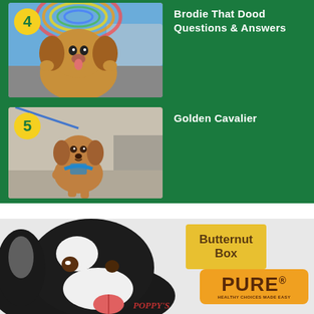4 Brodie That Dood Questions & Answers
5 Golden Cavalier
[Figure (photo): Black and white dog licking something, with Butternut Box logo, PURE logo, and Poppy's logo visible]
Butternut Box
PURE HEALTHY CHOICES MADE EASY
POPPY'S